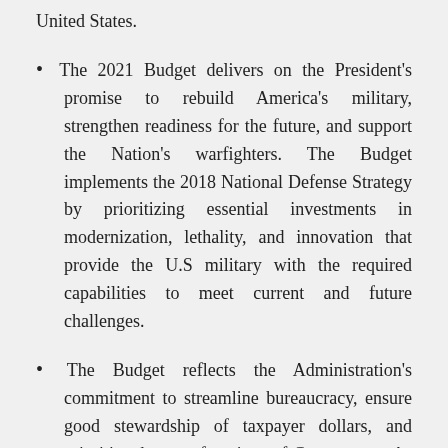United States.
The 2021 Budget delivers on the President’s promise to rebuild America’s military, strengthen readiness for the future, and support the Nation’s warfighters. The Budget implements the 2018 National Defense Strategy by prioritizing essential investments in modernization, lethality, and innovation that provide the U.S military with the required capabilities to meet current and future challenges.
The Budget reflects the Administration’s commitment to streamline bureaucracy, ensure good stewardship of taxpayer dollars, and prioritize the core functions of Government. As part of this effort, the Budget supports DOD’s comprehensive review of defense-wide organizations, known as DOD’s Fourth Estate, which identified over $5 billion in savings in 2021 and transferred an additional $2 billion in activities and functions to the military departments for more effective and efficient operations. The effort reduces Office of the Secretary of Defense programs and reinvests savings in